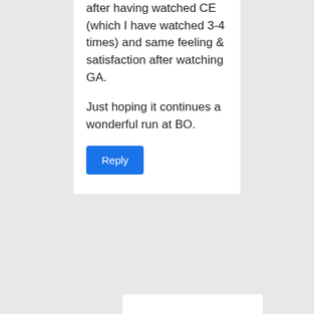after having watched CE (which I have watched 3-4 times) and same feeling & satisfaction after watching GA.

Just hoping it continues a wonderful run at BO.
Reply